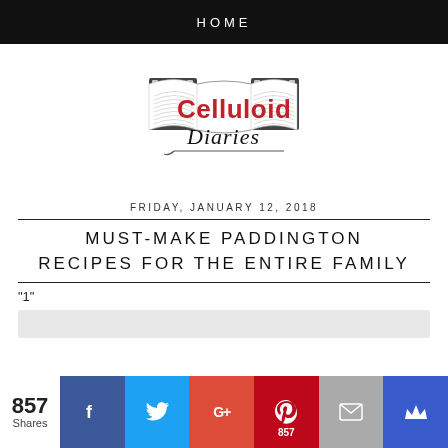HOME
[Figure (logo): Celluloid Diaries logo — open book with film strip, red text 'Celluloid' and cursive black 'Diaries']
FRIDAY, JANUARY 12, 2018
MUST-MAKE PADDINGTON RECIPES FOR THE ENTIRE FAMILY
"1"
[Figure (other): Gray placeholder bar]
857 Shares | Facebook | Twitter | G+ | Pinterest 857 | Email | Crown